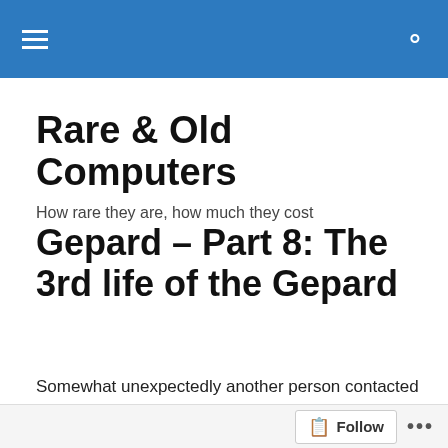Rare & Old Computers — navigation bar
Rare & Old Computers
How rare they are, how much they cost
Gepard – Part 8: The 3rd life of the Gepard
Somewhat unexpectedly another person contacted me and told the story of the 3rd life of the Gepard. This person is Hans Carlos Hofmann. I already read his name before as it appears in copyright notices of some of the later versions of GDOS. As it turns out, he can shed some
Follow •••